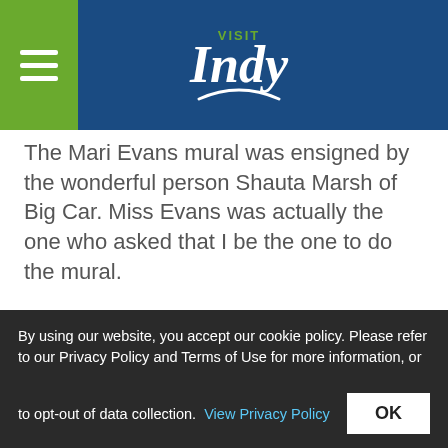VISIT Indy
The Mari Evans mural was ensigned by the wonderful person Shauta Marsh of Big Car. Miss Evans was actually the one who asked that I be the one to do the mural.
When I was young, I quit school and spent time in prison for robbery and a violation of the 1935 firearms act. It was there that I really learned about painting and poetry; I met an oil painter who taught me everything I knew and studied Mari Evans and other poets while in prison. She was, perhaps, my favorite... so I was honored to create her mural years later
By using our website, you accept our cookie policy. Please refer to our Privacy Policy and Terms of Use for more information, or to opt-out of data collection. View Privacy Policy OK